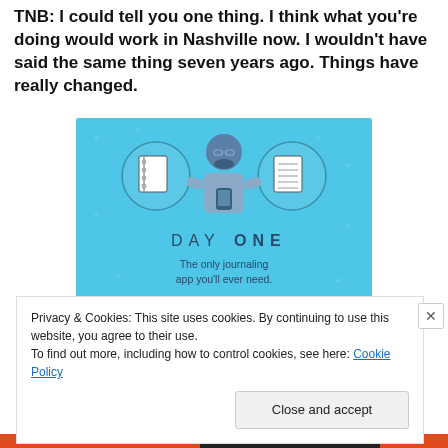TNB: I could tell you one thing. I think what you're doing would work in Nashville now. I wouldn't have said the same thing seven years ago. Things have really changed.
[Figure (illustration): Day One journaling app advertisement with blue background, showing illustrated figures of notebooks and a person using a phone, with text 'DAY ONE' and 'The only journaling app you'll ever need.']
Privacy & Cookies: This site uses cookies. By continuing to use this website, you agree to their use.
To find out more, including how to control cookies, see here: Cookie Policy